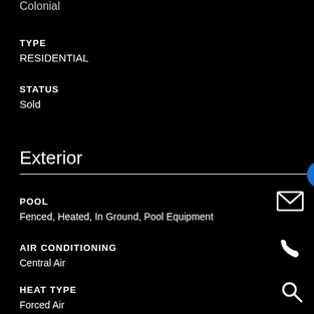Colonial
TYPE
RESIDENTIAL
STATUS
Sold
Exterior
POOL
Fenced, Heated, In Ground, Pool Equipment
AIR CONDITIONING
Central Air
HEAT TYPE
Forced Air